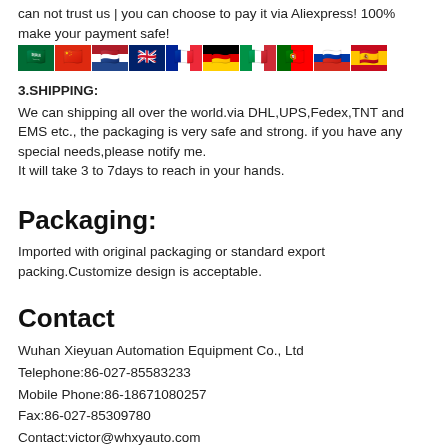can not trust us | you can choose to pay it via Aliexpress! 100% make your payment safe!
[Figure (illustration): Row of country flag emoji icons: Saudi Arabia, China, Netherlands, UK, France, Germany, Italy, Portugal, Russia, Spain]
3.SHIPPING:
We can shipping all over the world.via DHL,UPS,Fedex,TNT and EMS etc., the packaging is very safe and strong. if you have any special needs,please notify me.
It will take 3 to 7days to reach in your hands.
Packaging:
Imported with original packaging or standard export packing.Customize design is acceptable.
Contact
Wuhan Xieyuan Automation Equipment Co., Ltd
Telephone:86-027-85583233
Mobile Phone:86-18671080257
Fax:86-027-85309780
Contact:victor@whxyauto.com
Skype:victordu963@gmail.com
Whatsapp:+15... available...